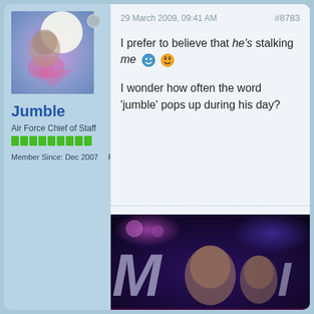[Figure (photo): User avatar photo showing a person with artistic overlay effects including light flare and heart shapes]
Jumble
Air Force Chief of Staff
Member Since: Dec 2007    Posts: 35683
29 March 2009, 09:41 AM
#8783
I prefer to believe that he's stalking me 😊😊

I wonder how often the word 'jumble' pops up during his day?
[Figure (photo): Banner image showing two people against a purple/dark background with large stylized text reading 'Martin']